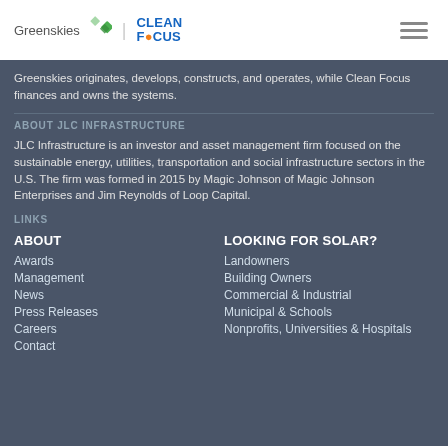[Figure (logo): Greenskies and Clean Focus logos side by side with a hamburger menu icon]
Greenskies originates, develops, constructs, and operates, while Clean Focus finances and owns the systems.
ABOUT JLC INFRASTRUCTURE
JLC Infrastructure is an investor and asset management firm focused on the sustainable energy, utilities, transportation and social infrastructure sectors in the U.S. The firm was formed in 2015 by Magic Johnson of Magic Johnson Enterprises and Jim Reynolds of Loop Capital.
LINKS
ABOUT
Awards
Management
News
Press Releases
Careers
Contact
LOOKING FOR SOLAR?
Landowners
Building Owners
Commercial & Industrial
Municipal & Schools
Nonprofits, Universities & Hospitals